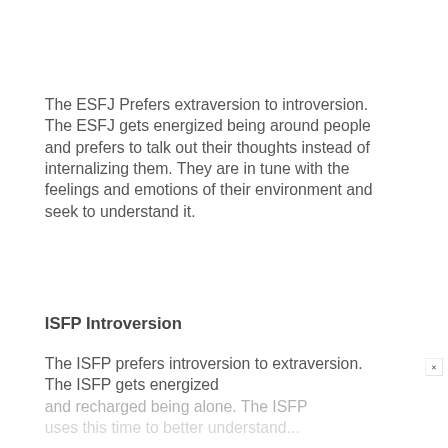The ESFJ Prefers extraversion to introversion. The ESFJ gets energized being around people and prefers to talk out their thoughts instead of internalizing them. They are in tune with the feelings and emotions of their environment and seek to understand it.
ISFP Introversion
The ISFP prefers introversion to extraversion. The ISFP gets energized and recharged being alone. The ISFP uses this time to better understand...